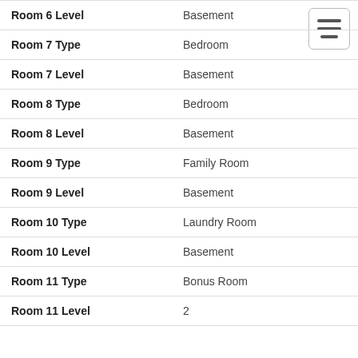| Field | Value |
| --- | --- |
| Room 6 Level | Basement |
| Room 7 Type | Bedroom |
| Room 7 Level | Basement |
| Room 8 Type | Bedroom |
| Room 8 Level | Basement |
| Room 9 Type | Family Room |
| Room 9 Level | Basement |
| Room 10 Type | Laundry Room |
| Room 10 Level | Basement |
| Room 11 Type | Bonus Room |
| Room 11 Level | 2 |